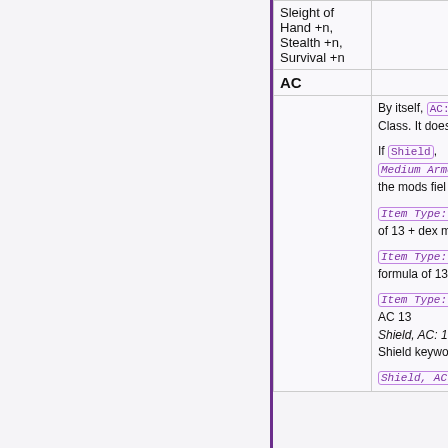|  | mid | right |
| --- | --- | --- |
|  | Sleight of Hand +n, Stealth +n, Survival +n |  |
|  | AC |  |
|  |  | By itself, AC: Class. It does...

If Shield, Medium Armor the mods fiel... Item Type: L of 13 + dex m... Item Type: M formula of 13... Item Type: H AC 13 Shield, AC: 1 Shield keywo... Shield, AC:... |